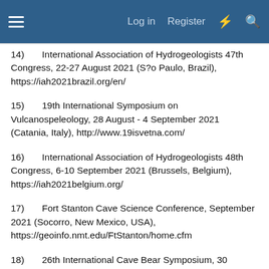Log in  Register
14)   International Association of Hydrogeologists 47th Congress, 22-27 August 2021 (S?o Paulo, Brazil), https://iah2021brazil.org/en/
15)   19th International Symposium on Vulcanospeleology, 28 August - 4 September 2021 (Catania, Italy), http://www.19isvetna.com/
16)   International Association of Hydrogeologists 48th Congress, 6-10 September 2021 (Brussels, Belgium), https://iah2021belgium.org/
17)   Fort Stanton Cave Science Conference, September 2021 (Socorro, New Mexico, USA), https://geoinfo.nmt.edu/FtStanton/home.cfm
18)   26th International Cave Bear Symposium, 30 September - 3 October 2021 (Reiss-Engelhorn-Museen, Mannheim, Germany), doris.doenges@mannheim.de